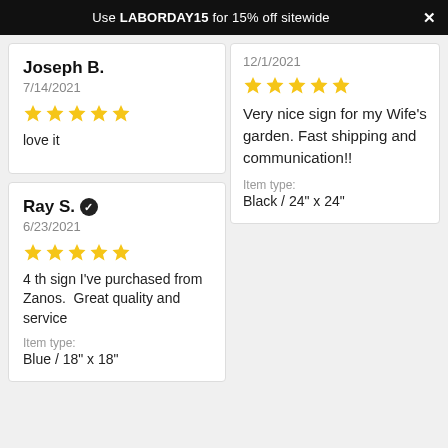Use LABORDAY15 for 15% off sitewide
Joseph B.
7/14/2021
★★★★★
love it
Ray S. ✓
6/23/2021
★★★★★
4 th sign I've purchased from Zanos.  Great quality and service
Item type:
Blue / 18" x 18"
12/1/2021
★★★★★
Very nice sign for my Wife's garden. Fast shipping and communication!!
Item type:
Black / 24" x 24"